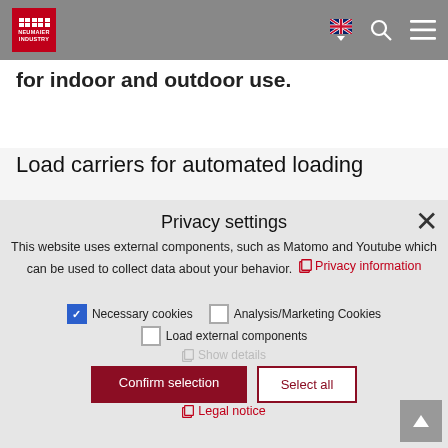Neumaier Industry – Navigation bar with logo, language selector, search, and menu icons
for indoor and outdoor use.
Load carriers for automated loading
Privacy settings
This website uses external components, such as Matomo and Youtube which can be used to collect data about your behavior. Privacy information
Necessary cookies (checked)
Analysis/Marketing Cookies (unchecked)
Load external components (unchecked)
Show details
Confirm selection   Select all
Legal notice